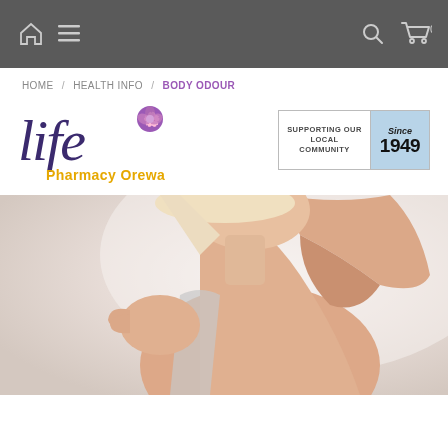Navigation bar with home icon, menu icon, search icon, cart (0)
HOME / HEALTH INFO / BODY ODOUR
[Figure (logo): Life Pharmacy Orewa logo with rose icon and yellow 'Pharmacy Orewa' text]
[Figure (logo): Supporting Our Local Community Since 1949 badge]
[Figure (photo): Woman in grey tank top smelling her armpit against a light background]